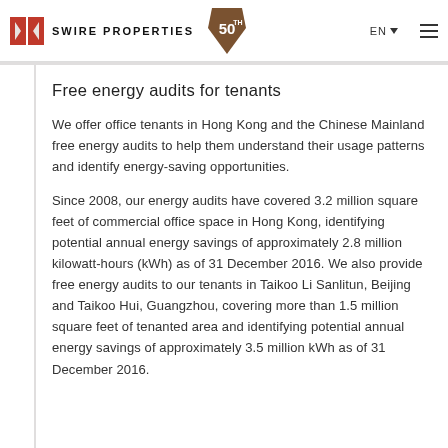Swire Properties 50th | EN | Menu
Free energy audits for tenants
We offer office tenants in Hong Kong and the Chinese Mainland free energy audits to help them understand their usage patterns and identify energy-saving opportunities.
Since 2008, our energy audits have covered 3.2 million square feet of commercial office space in Hong Kong, identifying potential annual energy savings of approximately 2.8 million kilowatt-hours (kWh) as of 31 December 2016. We also provide free energy audits to our tenants in Taikoo Li Sanlitun, Beijing and Taikoo Hui, Guangzhou, covering more than 1.5 million square feet of tenanted area and identifying potential annual energy savings of approximately 3.5 million kWh as of 31 December 2016.